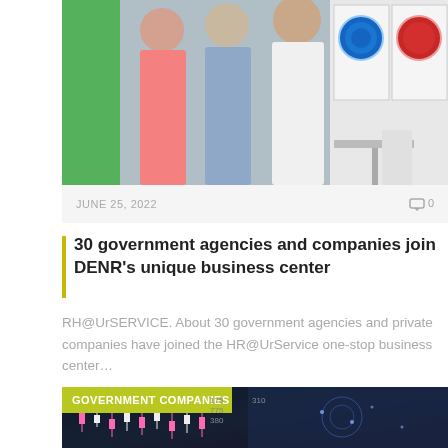[Figure (photo): People standing at an outdoor event with display booths behind them, including circular logos on white boards]
JUNE 25, 2022
0
30 government agencies and companies join DENR’s unique business center
RH@UrSERVICE. About 30 government agencies and private companies have joined the HR@UrService one-stop business center…
[Figure (photo): Dark financial chart background with candlestick data and a hand interacting with a glowing digital interface, labeled GOVERNMENT COMPANIES]